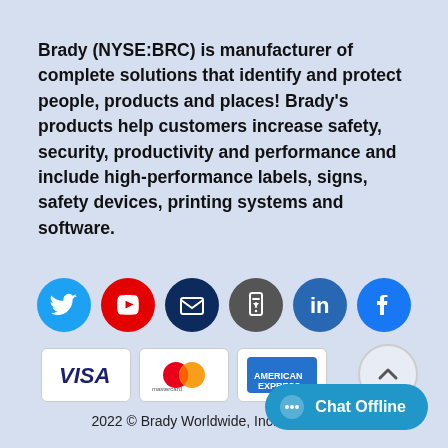Brady (NYSE:BRC) is manufacturer of complete solutions that identify and protect people, products and places! Brady's products help customers increase safety, security, productivity and performance and include high-performance labels, signs, safety devices, printing systems and software.
[Figure (infographic): Row of six social media icons: Twitter (blue circle), YouTube (red circle), Email/envelope (dark blue circle), Mobile app (dark grey circle), LinkedIn (blue circle), Facebook (blue circle)]
[Figure (infographic): Three payment method logos: VISA, Mastercard, American Express, displayed in white bordered cards]
[Figure (infographic): Scroll-to-top button: white/light circle with upward chevron arrow]
2022 © Brady Worldwide, Inc.
[Figure (infographic): Chat Offline button: teal/blue rounded pill with chat bubble icon and Chat Offline text]